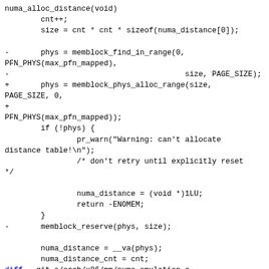numa_alloc_distance(void)
        cnt++;
        size = cnt * cnt * sizeof(numa_distance[0]);

-       phys = memblock_find_in_range(0,
PFN_PHYS(max_pfn_mapped),
-                                       size, PAGE_SIZE);
+       phys = memblock_phys_alloc_range(size,
PAGE_SIZE, 0,
+
PFN_PHYS(max_pfn_mapped));
        if (!phys) {
                pr_warn("Warning: can't allocate distance table!\n");
                /* don't retry until explicitly reset */

                numa_distance = (void *)1LU;
                return -ENOMEM;
        }
-       memblock_reserve(phys, size);

        numa_distance = __va(phys);
        numa_distance_cnt = cnt;
diff --git a/arch/x86/mm/numa_emulation.c b/arch/x86/mm/numa_emulation.c
index 87d77cc52f86..737491b13728 100644
--- a/arch/x86/mm/numa_emulation.c
+++ b/arch/x86/mm/numa_emulation.c
@@ -447,13 +447,12 @@ void __init numa_emulation(struct numa_meminfo *numa_meminfo, int numa_dist_cnt)